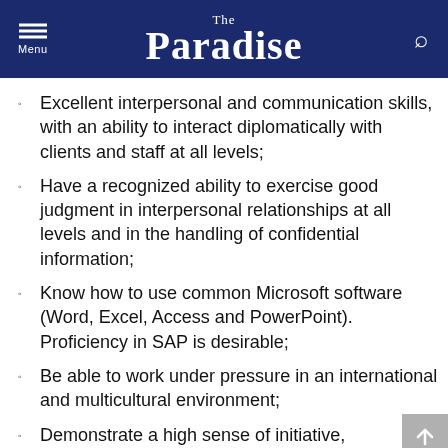The Paradise
Excellent interpersonal and communication skills, with an ability to interact diplomatically with clients and staff at all levels;
Have a recognized ability to exercise good judgment in interpersonal relationships at all levels and in the handling of confidential information;
Know how to use common Microsoft software (Word, Excel, Access and PowerPoint). Proficiency in SAP is desirable;
Be able to work under pressure in an international and multicultural environment;
Demonstrate a high sense of initiative,